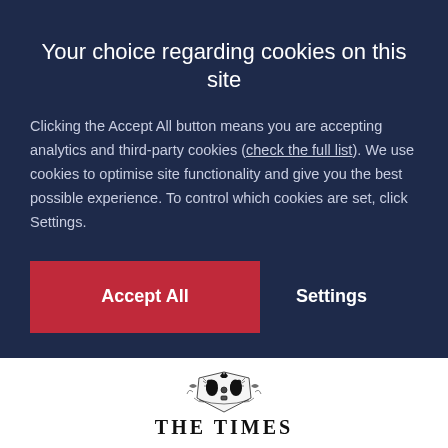Your choice regarding cookies on this site
Clicking the Accept All button means you are accepting analytics and third-party cookies (check the full list). We use cookies to optimise site functionality and give you the best possible experience. To control which cookies are set, click Settings.
[Figure (screenshot): Two buttons: a red 'Accept All' button and a white text 'Settings' button]
[Figure (logo): The Times newspaper logo with heraldic crest and text 'THE TIMES']